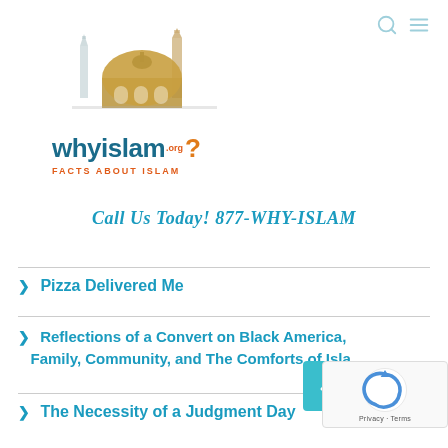[Figure (logo): WhyIslam.org logo with mosque illustration and tagline 'FACTS ABOUT ISLAM']
Call Us Today! 877-WHY-ISLAM
> Pizza Delivered Me
> Reflections of a Convert on Black America, Family, Community, and The Comforts of Isla...
> The Necessity of a Judgment Day